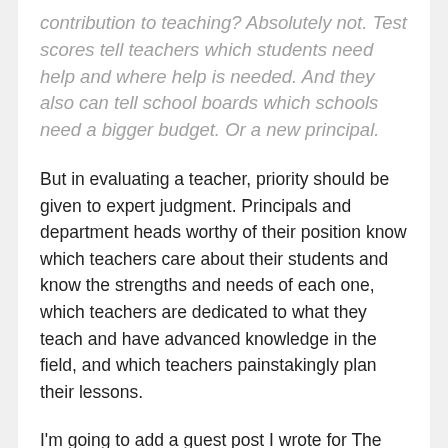contribution to teaching? Absolutely not. Test scores tell teachers which students need help and where help is needed. And they also can tell school boards which schools need a bigger budget. Or a new principal.
But in evaluating a teacher, priority should be given to expert judgment. Principals and department heads worthy of their position know which teachers care about their students and know the strengths and needs of each one, which teachers are dedicated to what they teach and have advanced knowledge in the field, and which teachers painstakingly plan their lessons.
I'm going to add a guest post I wrote for The Washington Post titled "The best think of...